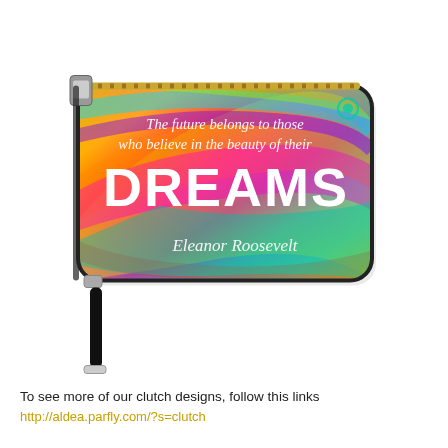[Figure (photo): A colorful wristlet clutch wallet with rainbow swirl design. White text on the clutch reads: 'The future belongs to those who believe in the beauty of their DREAMS' attributed to Eleanor Roosevelt. The clutch has a gold zipper and a black wrist strap.]
To see more of our clutch designs, follow this links
http://aldea.parfly.com/?s=clutch